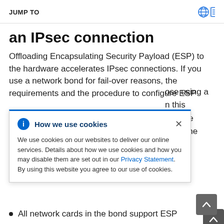JUMP TO
an IPsec connection
Offloading Encapsulating Security Payload (ESP) to the hardware accelerates IPsec connections. If you use a network bond for fail-over reasons, the requirements and the procedure to configure ESP
How we use cookies

We use cookies on our websites to deliver our online services. Details about how we use cookies and how you may disable them are set out in our Privacy Statement. By using this website you agree to our use of cookies.
All network cards in the bond support ESP